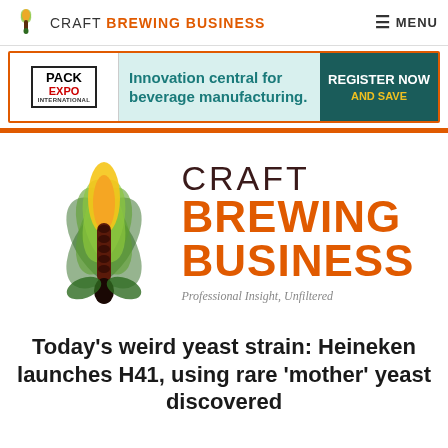CRAFT BREWING BUSINESS — MENU
[Figure (screenshot): Pack Expo International advertisement banner: Innovation central for beverage manufacturing. Register Now and Save.]
[Figure (logo): Craft Brewing Business logo — large hop/grain flame icon in greens, yellows, and browns, with text CRAFT BREWING BUSINESS and tagline Professional Insight, Unfiltered]
Today's weird yeast strain: Heineken launches H41, using rare 'mother' yeast discovered